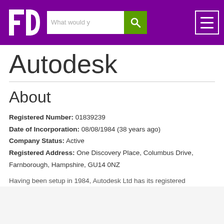FD — What would y [search] [menu]
Autodesk
About
Registered Number: 01839239
Date of Incorporation: 08/08/1984 (38 years ago)
Company Status: Active
Registered Address: One Discovery Place, Columbus Drive, Farnborough, Hampshire, GU14 0NZ
Having been setup in 1984, Autodesk Ltd has its registered